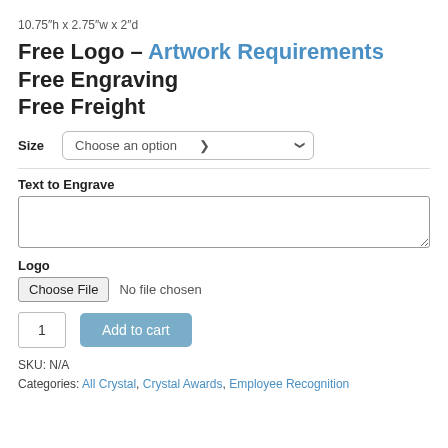10.75″h x 2.75″w x 2″d
Free Logo – Artwork Requirements
Free Engraving
Free Freight
Size   Choose an option
Text to Engrave
Logo
Choose File   No file chosen
1   Add to cart
SKU: N/A
Categories: All Crystal, Crystal Awards, Employee Recognition